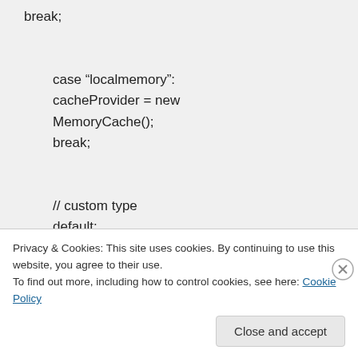break;

case "localmemory":
cacheProvider = new MemoryCache();
break;

// custom type
default:

try
{

}
Privacy & Cookies: This site uses cookies. By continuing to use this website, you agree to their use.
To find out more, including how to control cookies, see here: Cookie Policy
Close and accept